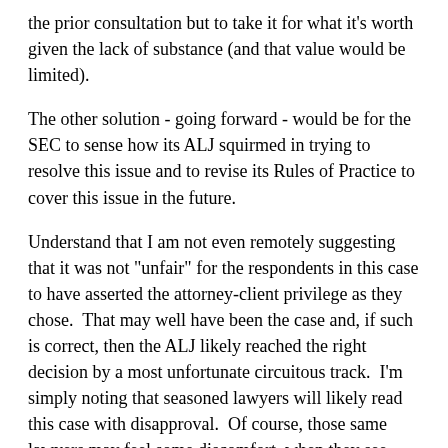the prior consultation but to take it for what it's worth given the lack of substance (and that value would be limited).
The other solution - going forward - would be for the SEC to sense how its ALJ squirmed in trying to resolve this issue and to revise its Rules of Practice to cover this issue in the future.
Understand that I am not even remotely suggesting that it was not "unfair" for the respondents in this case to have asserted the attorney-client privilege as they chose.  That may well have been the case and, if such is correct, then the ALJ likely reached the right decision by a most unfortunate circuitous track.  I'm simply noting that seasoned lawyers will likely read this case with disapproval.  Of course, those same lawyers may feel some discomfort, when they see their own shenanigans all too clearly depicted.